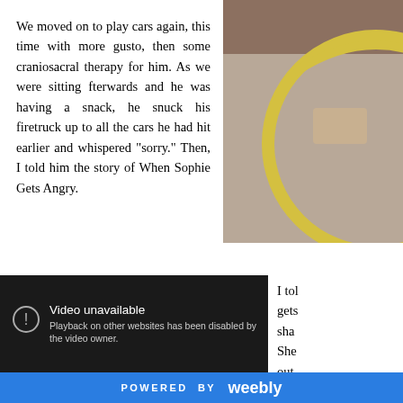We moved on to play cars again, this time with more gusto, then some craniosacral therapy for him. As we were sitting fterwards and he was having a snack, he snuck his firetruck up to all the cars he had hit earlier and whispered "sorry." Then, I told him the story of When Sophie Gets Angry.
[Figure (photo): Partial view of a circular yellow diagram or object on a tan/brown background, possibly a book cover detail showing Sophie Gets Angry.]
[Figure (screenshot): Embedded video player showing 'Video unavailable. Playback on other websites has been disabled by the video owner.']
I tol gets sha She out and
POWERED BY weebly